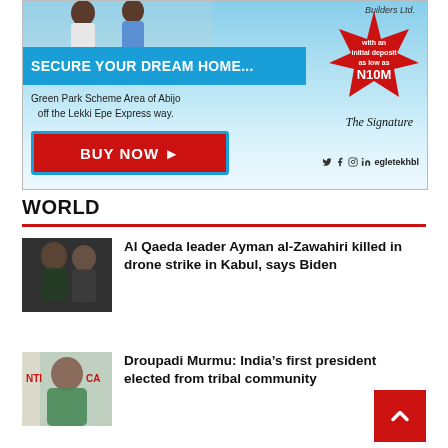[Figure (illustration): Advertisement banner for Egletek Home Builders Ltd. Blue background with people, red stamp showing N10M initial deposit, 'SECURE YOUR DREAM HOME...' text, Green Park Scheme Area of Abijo off the Lekki Epe Express way, BUY NOW button, The Signature logo, social media icons.]
WORLD
[Figure (photo): Photo of Al Qaeda leader Ayman al-Zawahiri]
Al Qaeda leader Ayman al-Zawahiri killed in drone strike in Kabul, says Biden
[Figure (photo): Photo of Droupadi Murmu]
Droupadi Murmu: India’s first president elected from tribal community